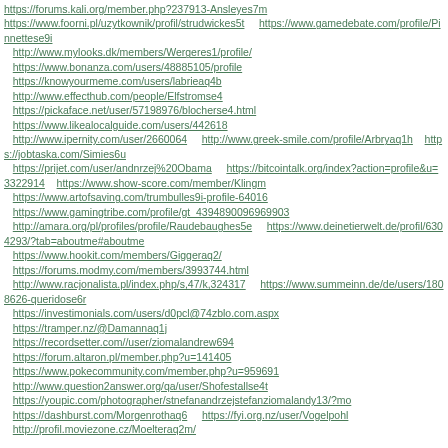https://forums.kali.org/member.php?237913-Ansleyes7m
https://www.foorni.pl/uzytkownik/profil/strudwickes5t    https://www.gamedebate.com/profile/Pinnettese9i
http://www.mylooks.dk/members/Wergeres1/profile/
https://www.bonanza.com/users/48885105/profile
https://knowyourmeme.com/users/labrieaq4b
http://www.effecthub.com/people/Elfstromse4
https://pickaface.net/user/57198976/blocherse4.html
https://www.likealocalguide.com/users/442618
http://www.ipernity.com/user/2660064    http://www.greek-smile.com/profile/Arbryaq1h    https://jobtaska.com/Simies6u
https://prijet.com/user/andnrzej%20Obama    https://bitcointalk.org/index?action=profile&u=3322914    https://www.show-score.com/member/Klingm
https://www.artofsaving.com/trumbulles9i-profile-64016
https://www.gamingtribe.com/profile/gt_4394890096969903
http://amara.org/pl/profiles/profile/Raudebaughes5e    https://www.deintierwelt.de/profil/6304293/?tab=aboutme#aboutme
https://www.hookit.com/members/Giggeraq2/
https://forums.modmy.com/members/3993744.html
http://www.racjonalista.pl/index.php/s,47/k,324317    https://www.summeinn.de/de/users/1808626-queridose6r
https://investimonials.com/users/d0pcl@74zblo.com.aspx
https://tramper.nz/@Damannaq1j
https://recordsetter.com//user/ziomalandrew694
https://forum.altaron.pl/member.php?u=141405
https://www.pokecommunity.com/member.php?u=959691
http://www.question2answer.org/qa/user/Shofestallse4t
https://youpic.com/photographer/stnefanandrzejstefanziomalandy13/?mo
https://dashburst.com/Morgenrothaq6    https://fyi.org.nz/user/Vogelpohl
http://profil.moviezone.cz/Moelteraq2m/